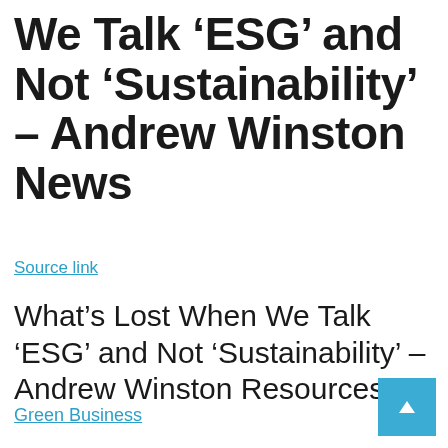We Talk ‘ESG’ and Not ‘Sustainability’ – Andrew Winston News
Source link
What’s Lost When We Talk ‘ESG’ and Not ‘Sustainability’ – Andrew Winston Resources
Green Business